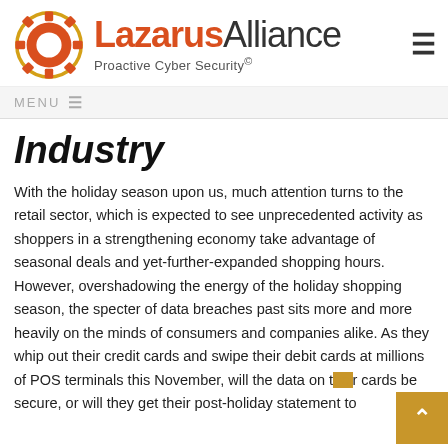[Figure (logo): Lazarus Alliance logo with gear icon, red 'Lazarus' and grey 'Alliance' wordmark, tagline 'Proactive Cyber Security©']
MENU ☰
Industry
With the holiday season upon us, much attention turns to the retail sector, which is expected to see unprecedented activity as shoppers in a strengthening economy take advantage of seasonal deals and yet-further-expanded shopping hours. However, overshadowing the energy of the holiday shopping season, the specter of data breaches past sits more and more heavily on the minds of consumers and companies alike. As they whip out their credit cards and swipe their debit cards at millions of POS terminals this November, will the data on their cards be secure, or will they get their post-holiday statement to